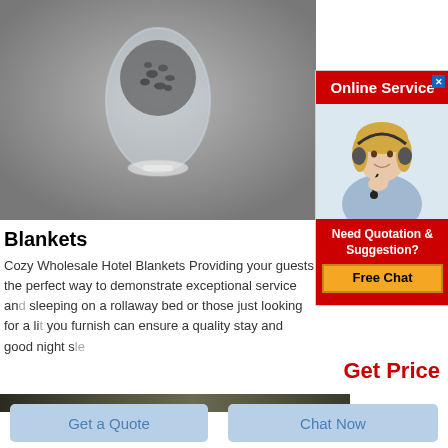[Figure (photo): Product photo: glass egg-shaped vessel containing gray granular material/pellets, on a white base, against a gray gradient background]
[Figure (photo): Online Service popup: red header with 'Online Service' text and close button, photo of blonde female agent wearing headset, red section with 'Need Quotation & Suggestion?' and yellow 'Free Chat' button]
Blankets
Cozy Wholesale Hotel Blankets Providing your guests the perfect way to demonstrate exceptional service and sleeping on a rollaway bed or those just looking for a li you furnish can ensure a quality stay and good night s
Get Price
[Figure (photo): Partial view of a dark-colored product photo at the bottom of the page]
Get a Quote
Chat Now